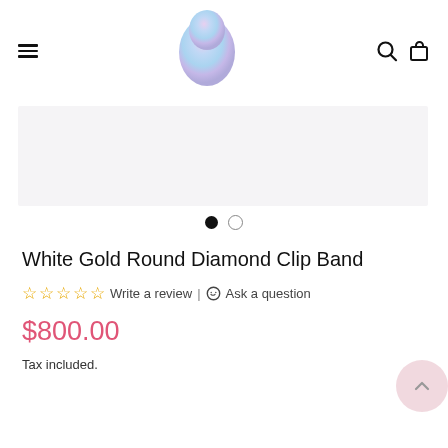[Figure (logo): Pastel gradient egg-shaped logo icon]
[Figure (screenshot): Product image carousel area, light grey background, empty/no product image visible]
[Figure (infographic): Carousel navigation dots: one filled black dot and one empty circle]
White Gold Round Diamond Clip Band
☆ ☆ ☆ ☆ ☆ Write a review | 💬 Ask a question
$800.00
Tax included.